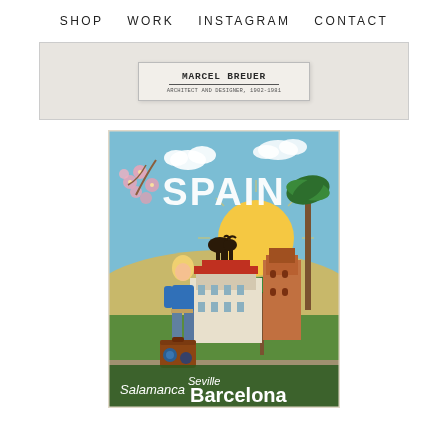SHOP   WORK   INSTAGRAM   CONTACT
[Figure (photo): Book or catalog cover label showing 'MARCEL BREUER' text with subtitle, displayed on a light beige/gray background card]
[Figure (illustration): Vintage-style Spain travel poster featuring a blonde woman in blue shirt and jeans with luggage, Spanish architecture including a tower, palm trees, bull silhouette, sun, and text reading SPAIN, Seville, Salamanca, Barcelona]